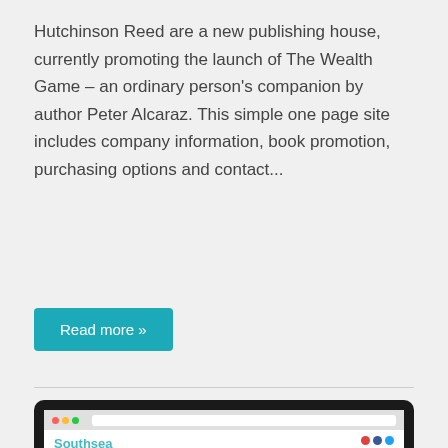Hutchinson Reed are a new publishing house, currently promoting the launch of The Wealth Game – an ordinary person's companion by author Peter Alcaraz. This simple one page site includes company information, book promotion, purchasing options and contact...
Read more »
[Figure (screenshot): Screenshot of a website called 'Southsea Lifestyle' displayed on a laptop, showing a dark navy panel on the left with cursive text and a red tomato/pepper image on the right with the hashtag #SouthseaLifestyle]